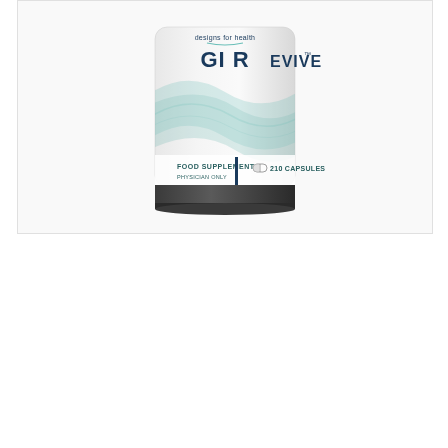[Figure (photo): Product photo of GI Revive supplement bottle by Designs for Health. White bottle with teal/green wave design, labeled 'GI REVIVE', 'FOOD SUPPLEMENT', 'PHYSICIAN ONLY', '210 CAPSULES', dark cap at bottom.]